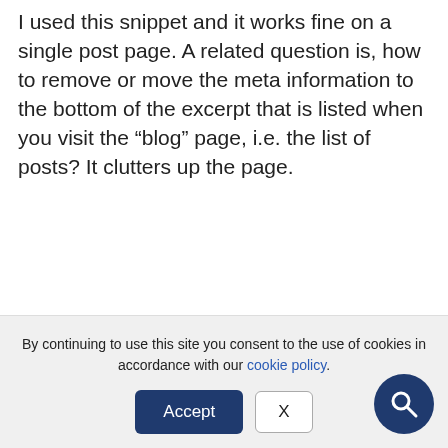I used this snippet and it works fine on a single post page. A related question is, how to remove or move the meta information to the bottom of the excerpt that is listed when you visit the “blog” page, i.e. the list of posts? It clutters up the page.
Thanks for any hints.
Best regards, Magnus
MarkoH
By continuing to use this site you consent to the use of cookies in accordance with our cookie policy.